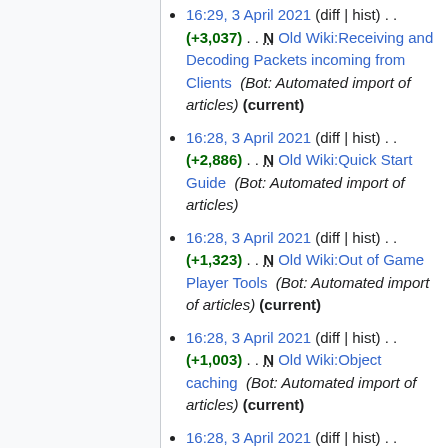16:29, 3 April 2021 (diff | hist) . . (+3,037) . . N Old Wiki:Receiving and Decoding Packets incoming from Clients (Bot: Automated import of articles) (current)
16:28, 3 April 2021 (diff | hist) . . (+2,886) . . N Old Wiki:Quick Start Guide (Bot: Automated import of articles)
16:28, 3 April 2021 (diff | hist) . . (+1,323) . . N Old Wiki:Out of Game Player Tools (Bot: Automated import of articles) (current)
16:28, 3 April 2021 (diff | hist) . . (+1,003) . . N Old Wiki:Object caching (Bot: Automated import of articles) (current)
16:28, 3 April 2021 (diff | hist) . . (+13,668) . . N Old Wiki:NPC Loot Drops (Bot: Automated import of